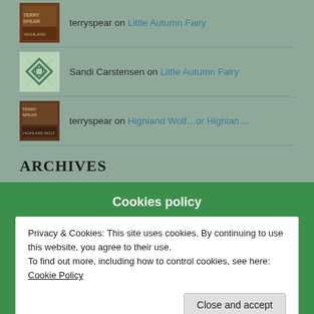terryspear on Little Autumn Fairy
Sandi Carstensen on Little Autumn Fairy
terryspear on Highland Wolf…or Highlan…
ARCHIVES
August 2022
July 2022
Cookies policy
Privacy & Cookies: This site uses cookies. By continuing to use this website, you agree to their use.
To find out more, including how to control cookies, see here: Cookie Policy
Close and accept